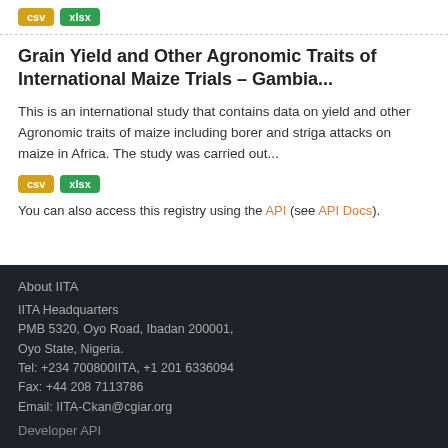[Figure (other): Two format badges: csv (yellow/gold) and xlsx (green) at the top of the page]
Grain Yield and Other Agronomic Traits of International Maize Trials – Gambia...
This is an international study that contains data on yield and other Agronomic traits of maize including borer and striga attacks on maize in Africa. The study was carried out...
[Figure (other): Two format badges: csv (yellow/gold) and xlsx (green)]
You can also access this registry using the API (see API Docs).
About IITA
IITA Headquarters
PMB 5320, Oyo Road, Ibadan 200001, Oyo State, Nigeria.
Tel: +234 700800IITA, +1 201 6336094
Fax: +44 208 7113786
Email: IITA-Ckan@cgiar.org
Developer API